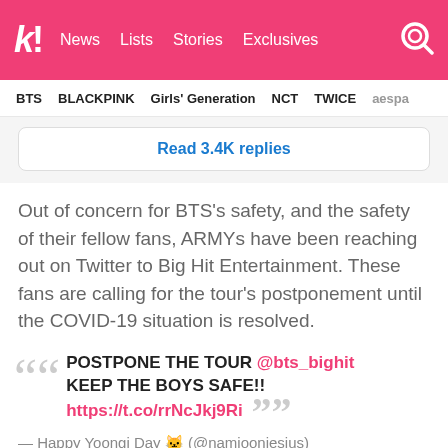k! News  Lists  Stories  Exclusives
BTS  BLACKPINK  Girls' Generation  NCT  TWICE  aespa
Read 3.4K replies
Out of concern for BTS's safety, and the safety of their fellow fans, ARMYs have been reaching out on Twitter to Big Hit Entertainment. These fans are calling for the tour's postponement until the COVID-19 situation is resolved.
POSTPONE THE TOUR @bts_bighit KEEP THE BOYS SAFE!! https://t.co/rrNcJkj9Ri
— Happy Yoongi Day 🐱 (@namjooniesius)